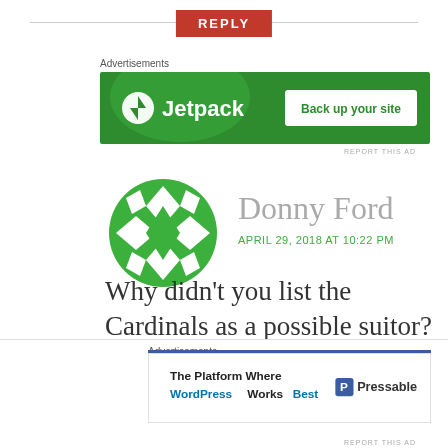REPLY
[Figure (illustration): Jetpack advertisement banner with green background: Jetpack logo on left, 'Back up your site' button on right]
[Figure (illustration): Green diamond-pattern avatar for commenter Donny Ford]
Donny Ford
APRIL 29, 2018 AT 10:22 PM
Why didn’t you list the Cardinals as a possible suitor?
Good catch. Thank you for noticing! I
[Figure (illustration): Pressable advertisement banner: 'The Platform Where WordPress Works Best' with Pressable logo]